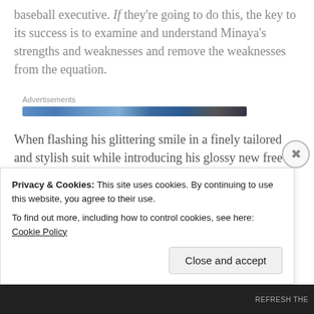baseball executive. If they're going to do this, the key to its success is to examine and understand Minaya's strengths and weaknesses and remove the weaknesses from the equation.
Advertisements
When flashing his glittering smile in a finely tailored and stylish suit while introducing his glossy new free agent signing or trade acquisition, Minaya is great –
Privacy & Cookies: This site uses cookies. By continuing to use this website, you agree to their use.
To find out more, including how to control cookies, see here: Cookie Policy
Close and accept